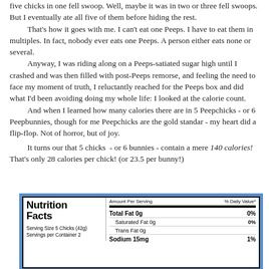five chicks in one fell swoop. Well, maybe it was in two or three fell swoops. But I eventually ate all five of them before hiding the rest.
    That's how it goes with me. I can't eat one Peeps. I have to eat them in multiples. In fact, nobody ever eats one Peeps. A person either eats none or several.
    Anyway, I was riding along on a Peeps-satiated sugar high until I crashed and was then filled with post-Peeps remorse, and feeling the need to face my moment of truth, I reluctantly reached for the Peeps box and did what I'd been avoiding doing my whole life: I looked at the calorie count.
    And when I learned how many calories there are in 5 Peepchicks - or 6 Peepbunnies, though for me Peepchicks are the gold standar - my heart did a flip-flop. Not of horror, but of joy.
    It turns our that 5 chicks - or 6 bunnies - contain a mere 140 calories! That's only 28 calories per chick! (or 23.5 per bunny!)
[Figure (photo): Peeps Nutrition Facts label showing: Amount Per Serving, % Daily Value, Total Fat 0g 0%, Saturated Fat 0g 0%, Trans Fat 0g, Sodium 15mg 1%, Serving Size 5 Chicks (42g), Servings per Container 2]